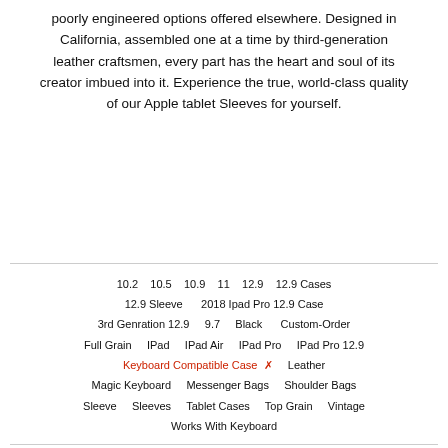poorly engineered options offered elsewhere. Designed in California, assembled one at a time by third-generation leather craftsmen, every part has the heart and soul of its creator imbued into it. Experience the true, world-class quality of our Apple tablet Sleeves for yourself.
10.2   10.5   10.9   11   12.9   12.9 Cases   12.9 Sleeve   2018 Ipad Pro 12.9 Case   3rd Genration 12.9   9.7   Black   Custom-Order   Full Grain   IPad   IPad Air   IPad Pro   IPad Pro 12.9   Keyboard Compatible Case ✕   Leather   Magic Keyboard   Messenger Bags   Shoulder Bags   Sleeve   Sleeves   Tablet Cases   Top Grain   Vintage   Works With Keyboard